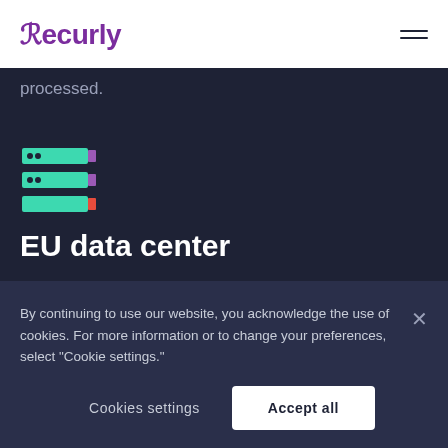Recurly
processed.
[Figure (illustration): Server/database stack icon with three horizontal bars in teal/green color with small purple and orange accent indicators on the right side]
EU data center
Many European customers want to know that their personal information is securely stored locally
By continuing to use our website, you acknowledge the use of cookies. For more information or to change your preferences, select "Cookie settings."
Cookies settings
Accept all